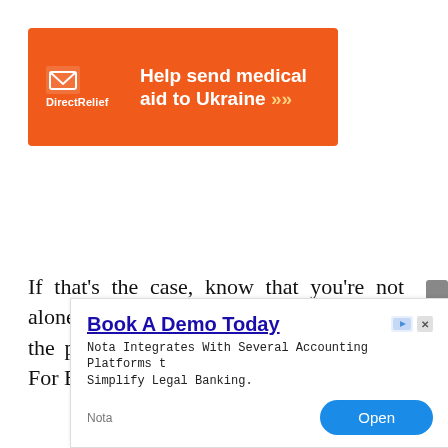[Figure (other): Direct Relief orange advertisement banner reading 'Help send medical aid to Ukraine >>' with Direct Relief logo on the left side]
If that's the case, know that you're not alone. Many people find it tough to buy the perfect Dual Fuel Inverter Generator For By for themselves. We
[Figure (other): Advertisement overlay: 'Book A Demo Today' with subtitle 'Nota Integrates With Several Accounting Platforms to Simplify Legal Banking.' Nota brand with blue 'Open' button]